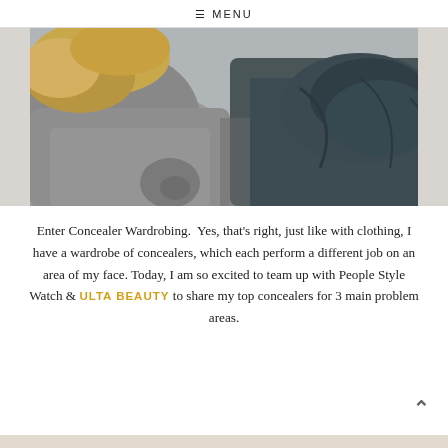≡ MENU
[Figure (photo): Two people wearing grey wool coats and scarves, photographed from behind/side, showing fabric texture detail in grey tones]
Enter Concealer Wardrobing.  Yes, that's right, just like with clothing, I have a wardrobe of concealers, which each perform a different job on an area of my face. Today, I am so excited to team up with People Style Watch & ULTA BEAUTY to share my top concealers for 3 main problem areas.